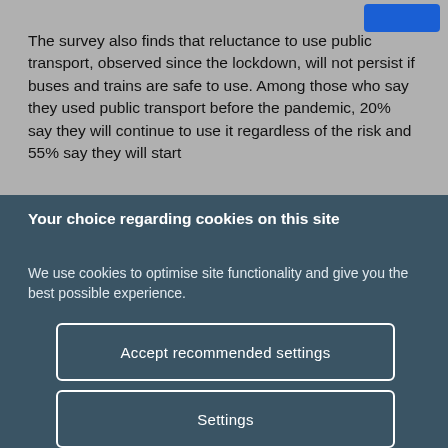The survey also finds that reluctance to use public transport, observed since the lockdown, will not persist if buses and trains are safe to use. Among those who say they used public transport before the pandemic, 20% say they will continue to use it regardless of the risk and 55% say they will start
Your choice regarding cookies on this site
We use cookies to optimise site functionality and give you the best possible experience.
Accept recommended settings
Settings